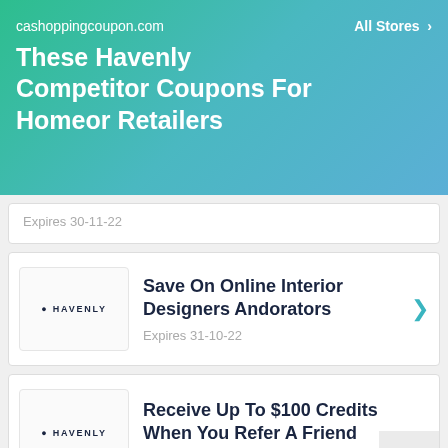cashoppingcoupon.com | All Stores
These Havenly Competitor Coupons For Homeor Retailers
Expires 30-11-22
[Figure (logo): Havenly logo]
Save On Online Interior Designers Andorators
Expires 31-10-22
[Figure (logo): Havenly logo]
Receive Up To $100 Credits When You Refer A Friend
Expires 30-11-22